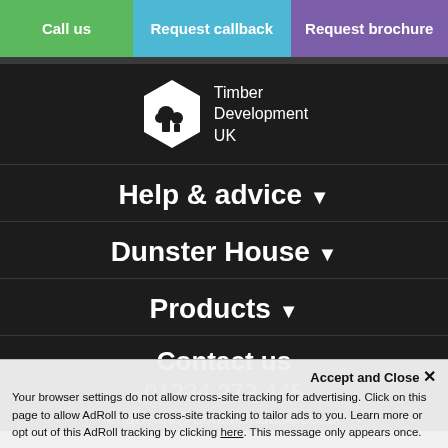Call us | Request callback | Request brochure
[Figure (logo): Timber Development UK hexagonal logo with tree/house icon and text 'Timber Development UK']
Help & advice ▼
Dunster House ▼
Products ▼
Contact us
01234 272 445
enquiries@dunsterhouse.co.uk
Accept and Close ✕
Your browser settings do not allow cross-site tracking for advertising. Click on this page to allow AdRoll to use cross-site tracking to tailor ads to you. Learn more or opt out of this AdRoll tracking by clicking here. This message only appears once.